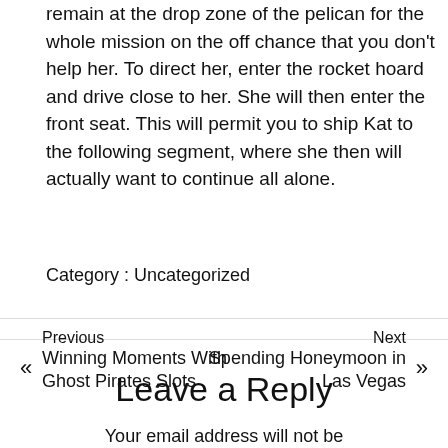remain at the drop zone of the pelican for the whole mission on the off chance that you don't help her. To direct her, enter the rocket hoard and drive close to her. She will then enter the front seat. This will permit you to ship Kat to the following segment, where she then will actually want to continue all alone.
Category : Uncategorized
« Previous Winning Moments With Ghost Pirates Slots
Next Spending Honeymoon in Las Vegas »
Leave a Reply
Your email address will not be